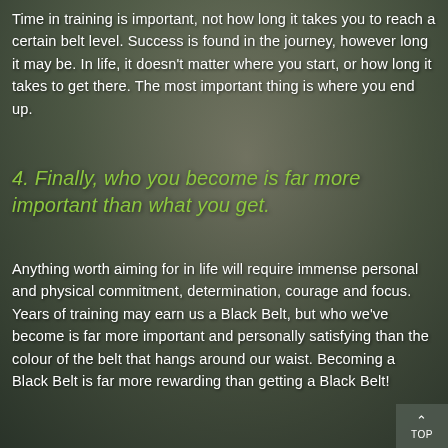Time in training is important, not how long it takes you to reach a certain belt level. Success is found in the journey, however long it may be. In life, it doesn't matter where you start, or how long it takes to get there. The most important thing is where you end up.
4. Finally, who you become is far more important than what you get.
Anything worth aiming for in life will require immense personal and physical commitment, determination, courage and focus. Years of training may earn us a Black Belt, but who we've become is far more important and personally satisfying than the colour of the belt that hangs around our waist. Becoming a Black Belt is far more rewarding than getting a Black Belt!